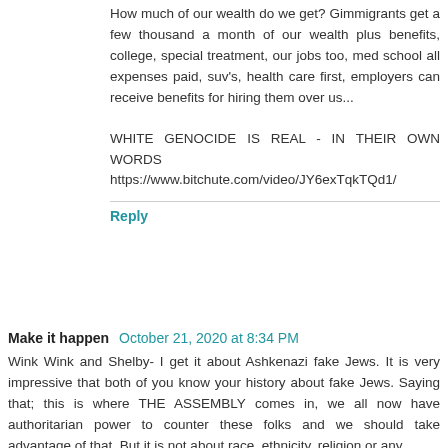How much of our wealth do we get? Gimmigrants get a few thousand a month of our wealth plus benefits, college, special treatment, our jobs too, med school all expenses paid, suv's, health care first, employers can receive benefits for hiring them over us...
WHITE GENOCIDE IS REAL - IN THEIR OWN WORDS
https://www.bitchute.com/video/JY6exTqkTQd1/
Reply
Make it happen  October 21, 2020 at 8:34 PM
Wink Wink and Shelby- I get it about Ashkenazi fake Jews. It is very impressive that both of you know your history about fake Jews. Saying that; this is where THE ASSEMBLY comes in, we all now have authoritarian power to counter these folks and we should take advantage of that. But it is not about race, ethnicity, religion or any